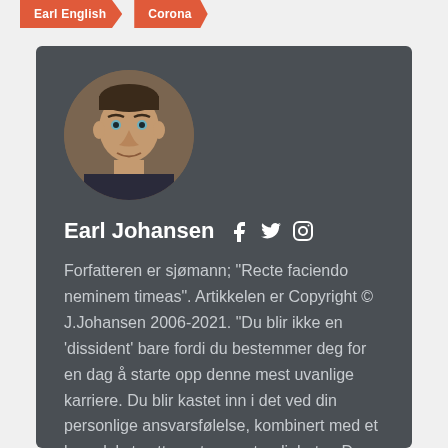Earl English
Corona
[Figure (photo): Circular portrait photo of Earl Johansen, a man with short dark hair]
Earl Johansen
Forfatteren er sjømann; "Recte faciendo neminem timeas". Artikkelen er Copyright © J.Johansen 2006-2021. "Du blir ikke en 'dissident' bare fordi du bestemmer deg for en dag å starte opp denne mest uvanlige karriere. Du blir kastet inn i det ved din personlige ansvarsfølelse, kombinert med et komplekst sett av ytre omstendigheter. Du er kastet ut av de eksisterende strukturer og plasseres i en posisjon i konflikt med dem. Det begynner som et forsøk på å gjøre arbeidet ditt godt,